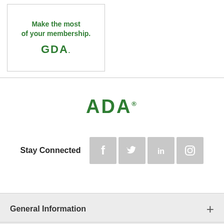[Figure (logo): GDA logo box with text 'Make the most of your membership.' and GDA logo in green]
[Figure (logo): ADA logo in large green bold text with registered trademark symbol]
Stay Connected
[Figure (infographic): Social media icons: Facebook, Twitter, LinkedIn, Instagram on gray square backgrounds]
General Information